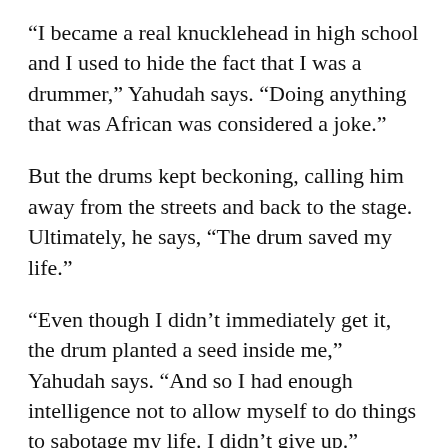“I became a real knucklehead in high school and I used to hide the fact that I was a drummer,” Yahudah says. “Doing anything that was African was considered a joke.”
But the drums kept beckoning, calling him away from the streets and back to the stage. Ultimately, he says, “The drum saved my life.”
“Even though I didn’t immediately get it, the drum planted a seed inside me,” Yahudah says. “And so I had enough intelligence not to allow myself to do things to sabotage my life. I didn’t give up.”
Yahudah believes that discipline and his involvement...